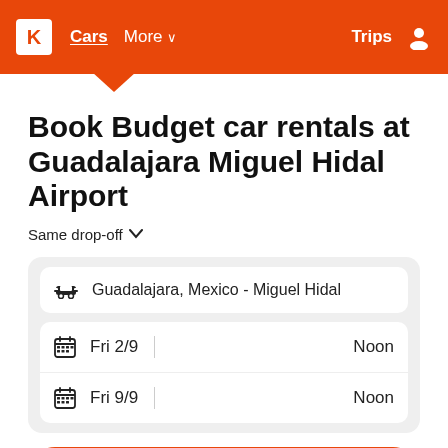K  Cars  More  Trips
Book Budget car rentals at Guadalajara Miguel Hidal Airport
Same drop-off
Guadalajara, Mexico - Miguel Hidal
Fri 2/9  Noon
Fri 9/9  Noon
Search
DRIVER'S AGE:  26-65  OTHER